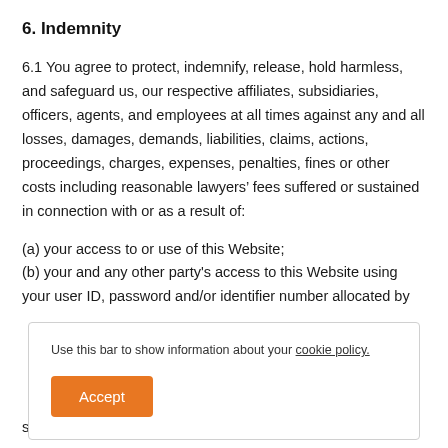6. Indemnity
6.1 You agree to protect, indemnify, release, hold harmless, and safeguard us, our respective affiliates, subsidiaries, officers, agents, and employees at all times against any and all losses, damages, demands, liabilities, claims, actions, proceedings, charges, expenses, penalties, fines or other costs including reasonable lawyers' fees suffered or sustained in connection with or as a result of:
(a) your access to or use of this Website;
(b) your and any other party's access to this Website using your user ID, password and/or identifier number allocated by
Use this bar to show information about your cookie policy.
such claim, action, suit or proceeding.